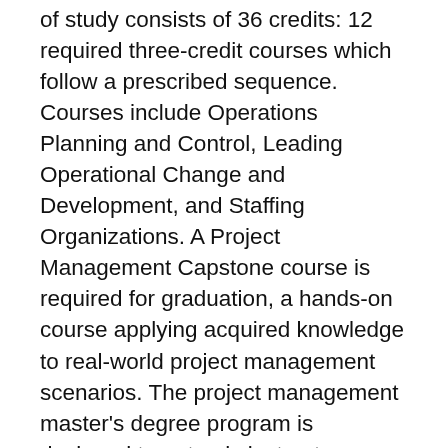of study consists of 36 credits: 12 required three-credit courses which follow a prescribed sequence. Courses include Operations Planning and Control, Leading Operational Change and Development, and Staffing Organizations. A Project Management Capstone course is required for graduation, a hands-on course applying acquired knowledge to real-world project management scenarios. The project management master's degree program is designed to not only instruct students in key job competencies, but to prepare them to sit for the Project management Professional certification exam offered by the Project management Institute (PMI). Distance learners at SHSU benefit from a strong online learning program; U.S. News and World Report rankings of SHSU's d…